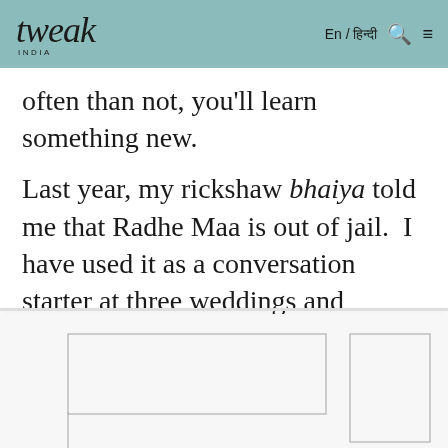tweak India | En / हिन्दी
often than not, you'll learn something new.
Last year, my rickshaw bhaiya told me that Radhe Maa is out of jail. I have used it as a conversation starter at three weddings and building society meeting.
[Figure (other): Partial view of an image or advertisement at the bottom of the page, showing rectangular outlines/borders on a light background]